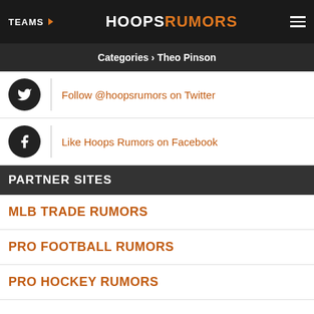TEAMS | HOOPSRUMORS
Categories › Theo Pinson
Follow @hoopsrumors on Twitter
Like Hoops Rumors on Facebook
PARTNER SITES
MLB TRADE RUMORS
PRO FOOTBALL RUMORS
PRO HOCKEY RUMORS
[Figure (other): Three circular social media icon buttons with orange borders]
ADVERTISEMENT